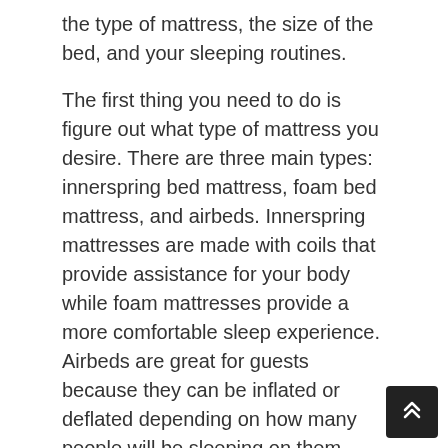the type of mattress, the size of the bed, and your sleeping routines.
The first thing you need to do is figure out what type of mattress you desire. There are three main types: innerspring bed mattress, foam bed mattress, and airbeds. Innerspring mattresses are made with coils that provide assistance for your body while foam mattresses provide a more comfortable sleep experience. Airbeds are great for guests because they can be inflated or deflated depending on how many people will be sleeping on them.
Bed mattress come in four various types: foam, spring coil, air, and water.
Foam mattresses are typically made with